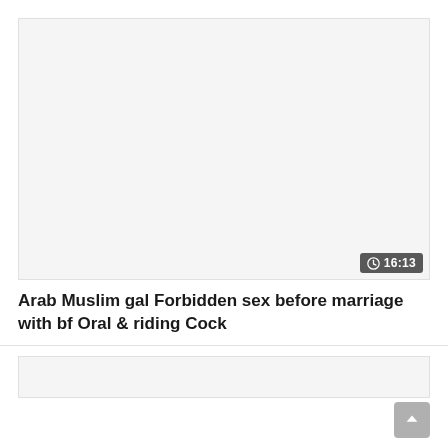[Figure (screenshot): Thumbnail area of a video, appears blank/white with a dark grey duration badge showing a clock icon and '16:13' in the top-right corner of the thumbnail.]
Arab Muslim gal Forbidden sex before marriage with bf Oral & riding Cock
[Figure (screenshot): Second video thumbnail area, blank/white.]